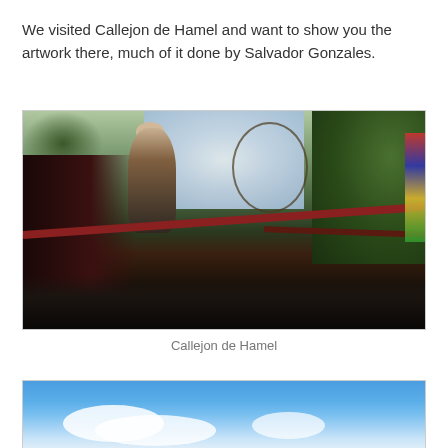We visited Callejon de Hamel and want to show you the artwork there, much of it done by Salvador Gonzales.
[Figure (photo): Outdoor scene at Callejon de Hamel showing metal sculptures and a human figure on an elevated beam, surrounded by lush green foliage, ornamental metalwork including a cross/star structure, dark machinery on the left, and colorful murals on the right.]
Callejon de Hamel
[Figure (photo): Partially visible photo showing a bright blue sky with white clouds at the bottom of the page.]